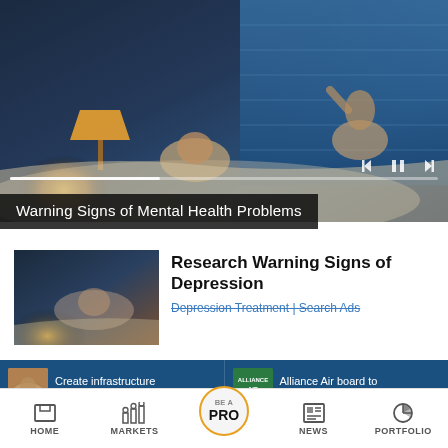[Figure (screenshot): Mobile news app screenshot showing a bedroom scene with two people lying in bed, warm lamp light on left, blue window blinds on right. Media player controls visible with progress bar. Overlay title bar reads 'Warning Signs of Mental Health Problems'.]
Warning Signs of Mental Health Problems
[Figure (photo): Thumbnail image of a person lying in bed looking at phone in dark room]
Research Warning Signs of Depression
Depression Treatment | Search Ads
Create infrastructure in Uttar Pradesh,
Alliance Air board to discuss pilots' salary
HOME    MARKETS    BE A PRO    NEWS    PORTFOLIO